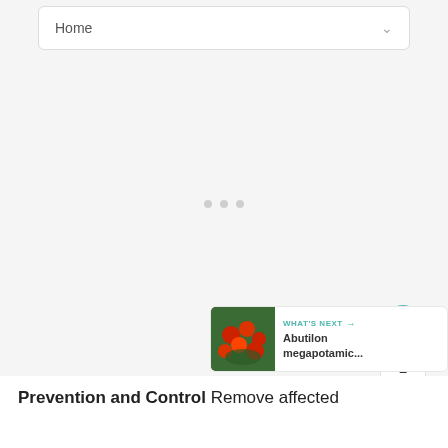Home
[Figure (screenshot): Large blank/loading content area with three small grey dots in the center indicating a loading state]
[Figure (infographic): Floating action buttons: teal heart button, count of 1, share button]
[Figure (infographic): What's Next card showing an image of Abutilon megapotamic... plant with teal label]
Prevention and Control Remove affected